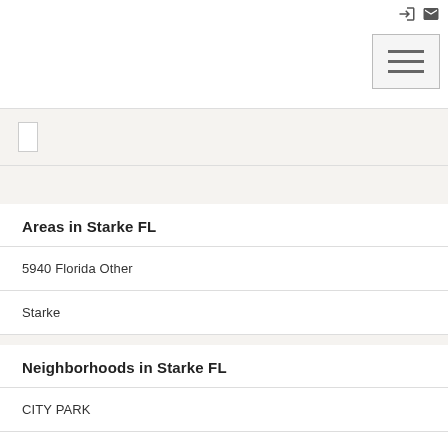login and email icons
[Figure (screenshot): Hamburger menu button with three horizontal lines]
[Figure (screenshot): Search bar area with light gray background and a white input box]
Areas in Starke FL
5940 Florida Other
Starke
Neighborhoods in Starke FL
CITY PARK
KINGSLEY LAKE VILLAGE